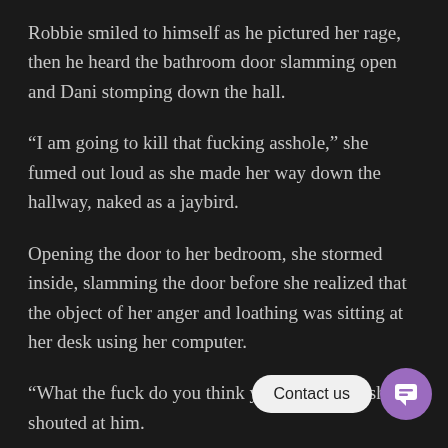Robbie smiled to himself as he pictured her rage, then he heard the bathroom door slamming open and Dani stomping down the hall.
“I am going to kill that fucking asshole,” she fumed out loud as she made her way down the hallway, naked as a jaybird.
Opening the door to her bedroom, she stormed inside, slamming the door before she realized that the object of her anger and loathing was sitting at her desk using her computer.
“What the fuck do you think you’re doing?” she shouted at him.
“Getting ready to hit the ENTER key,” Robbie replied,